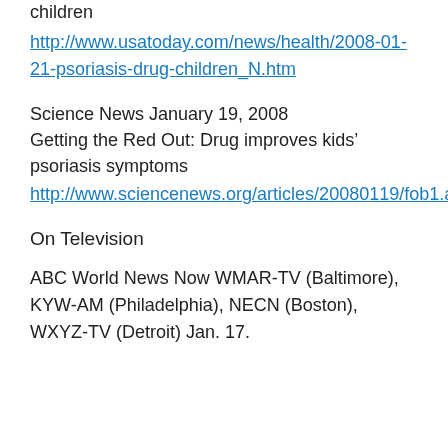children
http://www.usatoday.com/news/health/2008-01-21-psoriasis-drug-children_N.htm
Science News January 19, 2008
Getting the Red Out: Drug improves kids’ psoriasis symptoms
http://www.sciencenews.org/articles/20080119/fob1.asp
On Television
ABC World News Now WMAR-TV (Baltimore), KYW-AM (Philadelphia), NECN (Boston), WXYZ-TV (Detroit) Jan. 17.